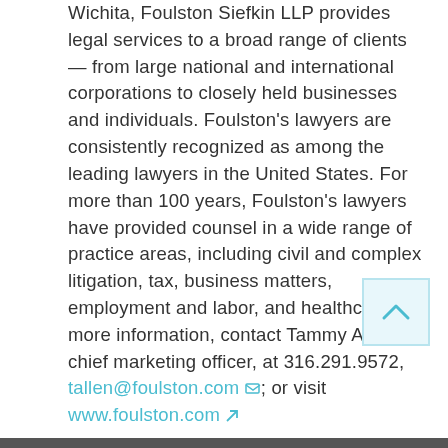Wichita, Foulston Siefkin LLP provides legal services to a broad range of clients — from large national and international corporations to closely held businesses and individuals. Foulston's lawyers are consistently recognized as among the leading lawyers in the United States. For more than 100 years, Foulston's lawyers have provided counsel in a wide range of practice areas, including civil and complex litigation, tax, business matters, employment and labor, and healthcare. For more information, contact Tammy Allen, chief marketing officer, at 316.291.9572, tallen@foulston.com; or visit www.foulston.com